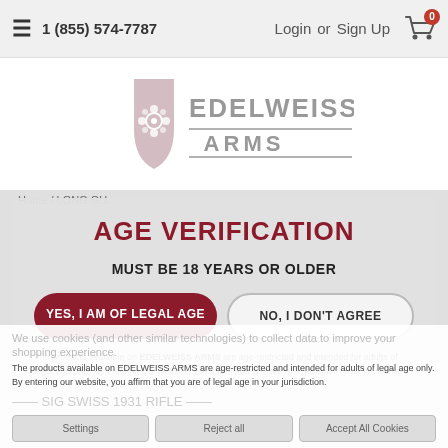1 (855) 574-7787   Login  or  Sign Up  [Cart: 0]
[Figure (logo): Edelweiss Arms logo with shield emblem and decorative lines]
Home / LONG GU...
AGE VERIFICATION
MUST BE 18 YEARS OR OLDER
YES, I AM OF LEGAL AGE
NO, I DON'T AGREE
The products available on EDELWEISS ARMS are age-restricted and intended for adults of legal age only. By entering our website, you affirm that you are of legal age in your jurisdiction.
We use cookies (and other similar technologies) to collect data to improve your shopping experience.
SIG SWISS 1931 RIFLE
Settings   Reject all   Accept All Cookies